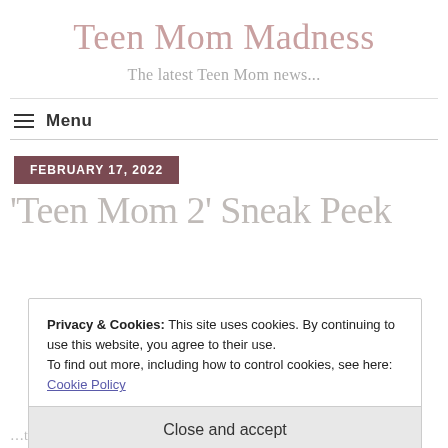Teen Mom Madness
The latest Teen Mom news...
Menu
FEBRUARY 17, 2022
'Teen Mom 2' Sneak Peek
Privacy & Cookies: This site uses cookies. By continuing to use this website, you agree to their use.
To find out more, including how to control cookies, see here: Cookie Policy
Close and accept